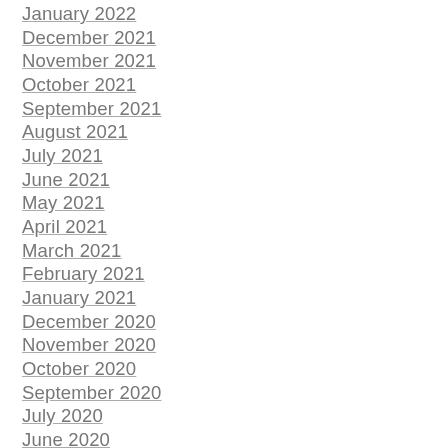January 2022
December 2021
November 2021
October 2021
September 2021
August 2021
July 2021
June 2021
May 2021
April 2021
March 2021
February 2021
January 2021
December 2020
November 2020
October 2020
September 2020
July 2020
June 2020